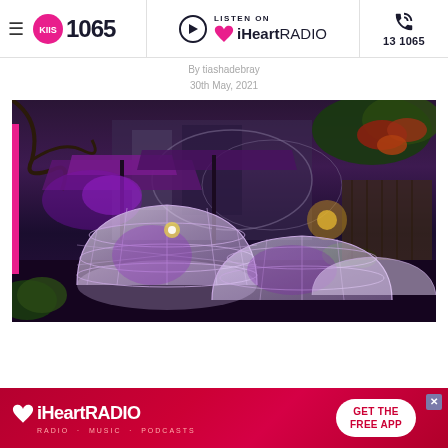KIIS 1065 | Listen on iHeartRADIO | 13 1065
By tiashadebray
30th May, 2021
[Figure (photo): Outdoor dining area with illuminated purple/pink geodesic dome pods and umbrella-covered tables, surrounded by trees and architectural glass structures in the background. Purple ambient lighting throughout.]
[Figure (photo): iHeartRADIO advertisement banner with red/pink background - text reads 'iHeartRADIO RADIO MUSIC PODCASTS' with a 'GET THE FREE APP' button on the right.]